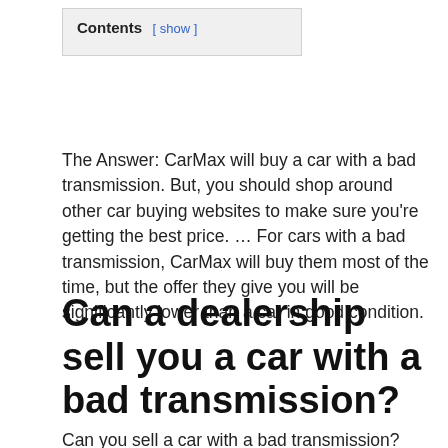Contents [ show ]
The Answer: CarMax will buy a car with a bad transmission. But, you should shop around other car buying websites to make sure you’re getting the best price. … For cars with a bad transmission, CarMax will buy them most of the time, but the offer they give you will be significantly lower than a car in good condition.
Can a dealership sell you a car with a bad transmission?
Can you sell a car with a bad transmission?